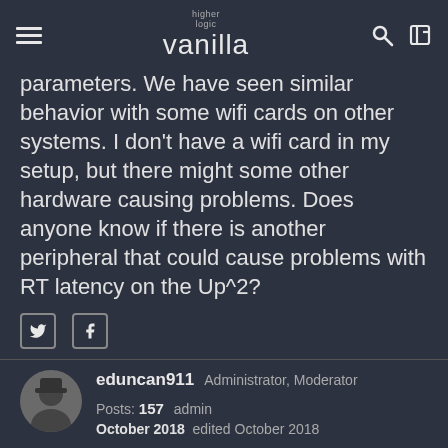higher logic vanilla
parameters. We have seen similar behavior with some wifi cards on other systems. I don't have a wifi card in my setup, but there might some other hardware causing problems. Does anyone know if there is another peripheral that could cause problems with RT latency on the Up^2?
eduncan911   Administrator, Moderator   Posts: 157   admin
October 2018   edited October 2018
@machinekoder said:
I've created a description on my blog:
https://machinekoder.com/compiling-an-rt-kernel-for-the-up-suared/

However, the RT performance I got out of the